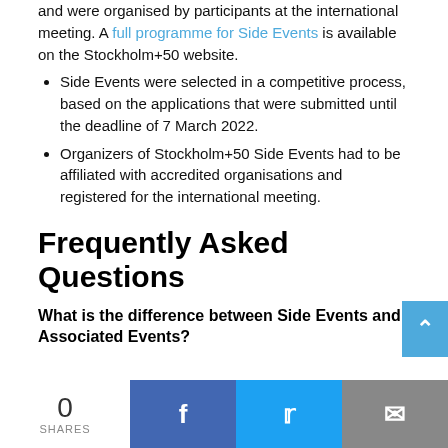and were organised by participants at the international meeting. A full programme for Side Events is available on the Stockholm+50 website.
Side Events were selected in a competitive process, based on the applications that were submitted until the deadline of 7 March 2022.
Organizers of Stockholm+50 Side Events had to be affiliated with accredited organisations and registered for the international meeting.
Frequently Asked Questions
What is the difference between Side Events and Associated Events?
0 SHARES
[Figure (infographic): Social sharing bar with Facebook, Twitter, and email buttons]